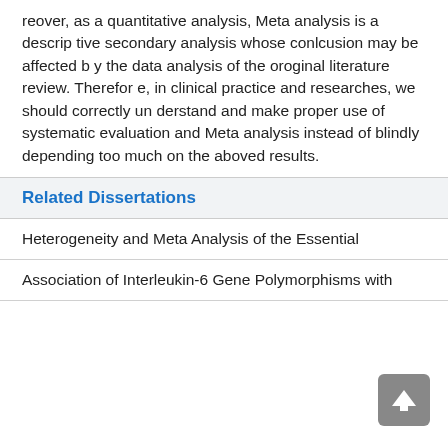reover, as a quantitative analysis, Meta analysis is a descriptive secondary analysis whose conlcusion may be affected by the data analysis of the oroginal literature review. Therefore, in clinical practice and researches, we should correctly understand and make proper use of systematic evaluation and Meta analysis instead of blindly depending too much on the aboved results.
Related Dissertations
Heterogeneity and Meta Analysis of the Essential
Association of Interleukin-6 Gene Polymorphisms with